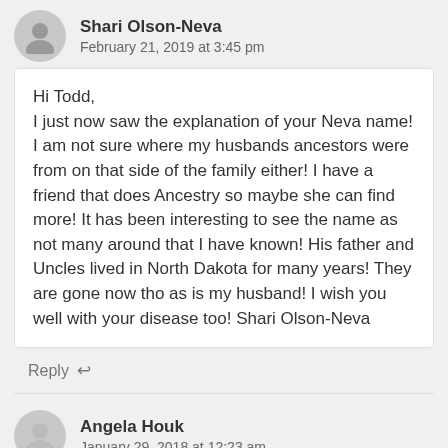Shari Olson-Neva
February 21, 2019 at 3:45 pm
Hi Todd,
I just now saw the explanation of your Neva name! I am not sure where my husbands ancestors were from on that side of the family either! I have a friend that does Ancestry so maybe she can find more! It has been interesting to see the name as not many around that I have known! His father and Uncles lived in North Dakota for many years! They are gone now tho as is my husband! I wish you well with your disease too! Shari Olson-Neva
Reply
Angela Houk
January 29, 2018 at 12:23 am